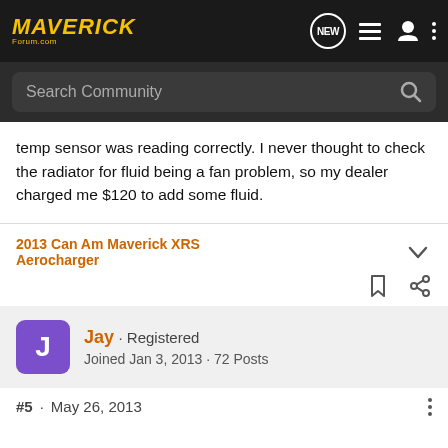MAVERICK Forum
temp sensor was reading correctly. I never thought to check the radiator for fluid being a fan problem, so my dealer charged me $120 to add some fluid.
2013 Can Am Maverick XRS Aerocharger
Jay · Registered
Joined Jan 3, 2013 · 72 Posts
#5 · May 26, 2013